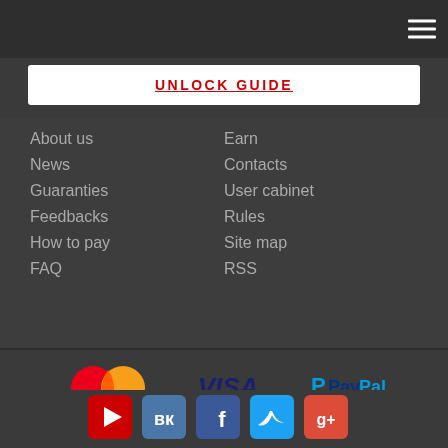UNLOCK GUIDE
About us
News
Guaranties
Feedbacks
How to pay
FAQ
Earn
Contacts
User cabinet
Rules
Site map
RSS
[Figure (logo): MasterCard logo]
[Figure (logo): VISA logo]
[Figure (logo): PayPal logo]
[Figure (logo): Comodo SSL Certificate logo]
[Figure (logo): McAfee Secure logo]
[Figure (logo): Norton by Symantec logo]
[Figure (logo): YouTube social icon]
[Figure (logo): VK social icon]
[Figure (logo): Facebook social icon]
[Figure (logo): Twitter social icon]
[Figure (logo): Google+ social icon]